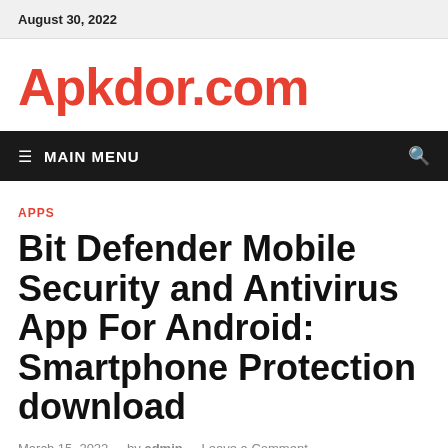August 30, 2022
Apkdor.com
≡ MAIN MENU
APPS
Bit Defender Mobile Security and Antivirus App For Android: Smartphone Protection download
March 15, 2022 - by admin - Leave a Comment